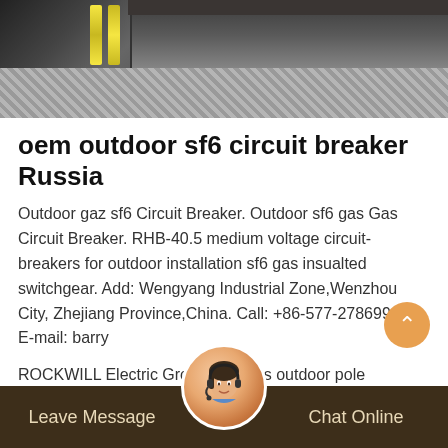[Figure (photo): Outdoor electrical equipment photo showing dark industrial switchgear unit with yellow cylindrical components, paved ground surface, and dark horizontal stripe in upper right]
oem outdoor sf6 circuit breaker Russia
Outdoor gaz sf6 Circuit Breaker. Outdoor sf6 gas Gas Circuit Breaker. RHB-40.5 medium voltage circuit-breakers for outdoor installation sf6 gas insualted switchgear. Add: Wengyang Industrial Zone,Wenzhou City, Zhejiang Province,China. Call: +86-577-27869969. E-mail: barry
ROCKWILL Electric Group provides outdoor pole mounted switchgears including: 6kV up to 52kV auto reclosers, sectionalizers, load break switches, vacuum circuit breakers, gaz sf6 gas circuit breakers,... certified by STL member labs like KEMA, CESI,
Leave Message   Chat Online